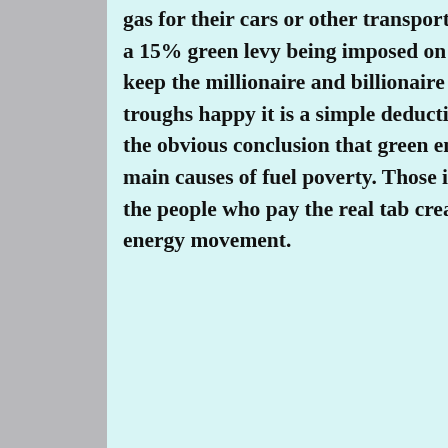gas for their cars or other transportation needs). With a 15% green levy being imposed on energy bills to keep the millionaire and billionaire green energy troughs happy it is a simple deduction that leads to the obvious conclusion that green energy is one of the main causes of fuel poverty. Those in fuel poverty are the people who pay the real tab created by the green energy movement.